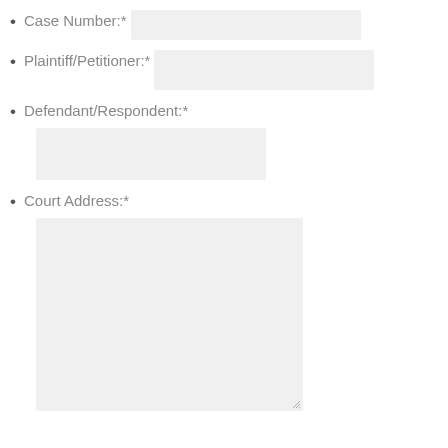Case Number:*
Plaintiff/Petitioner:*
Defendant/Respondent:*
Court Address:*